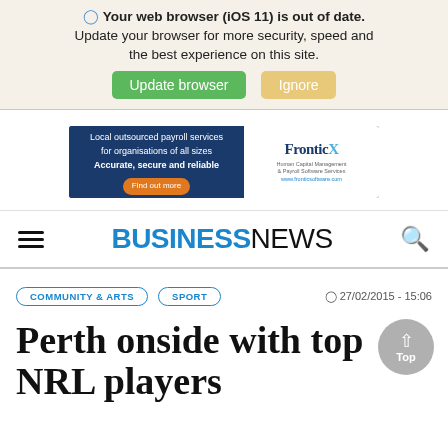Your web browser (iOS 11) is out of date. Update your browser for more security, speed and the best experience on this site.
Update browser | Ignore
[Figure (other): Frontix advertisement banner: Local outsourced payroll services for organisations of all sizes. Accurate, secure and reliable. Find out more.]
BUSINESSNEWS
COMMUNITY & ARTS  SPORT  27/02/2015 - 15:06
Perth onside with top NRL players